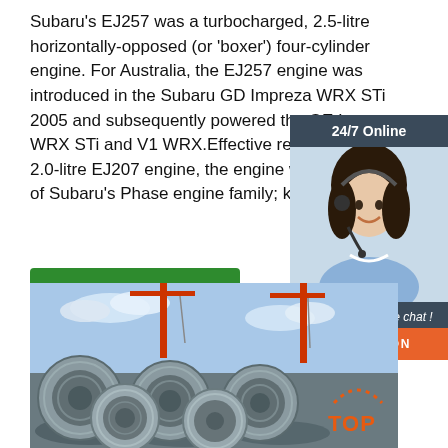Subaru's EJ257 was a turbocharged, 2.5-litre horizontally-opposed (or 'boxer') four-cylinder engine. For Australia, the EJ257 engine was introduced in the Subaru GD Impreza WRX STi 2005 and subsequently powered the GE Impreza WRX STi and V1 WRX.Effectively replacing the 2.0-litre EJ207 engine, the engine was a member of Subaru's Phase engine family; key ...
[Figure (other): 24/7 Online chat widget with a woman wearing a headset, a 'Click here for free chat!' message, and an orange QUOTATION button]
[Figure (other): Green 'Get Price' button]
[Figure (photo): Photograph of steel wire rod coils at a construction site with cranes in the background, and a TOP badge in the lower right]